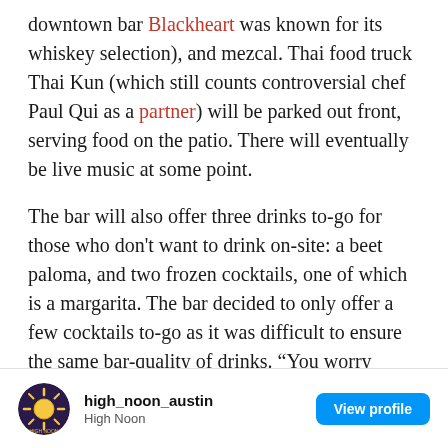downtown bar Blackheart was known for its whiskey selection), and mezcal. Thai food truck Thai Kun (which still counts controversial chef Paul Qui as a partner) will be parked out front, serving food on the patio. There will eventually be live music at some point.
The bar will also offer three drinks to-go for those who don't want to drink on-site: a beet paloma, and two frozen cocktails, one of which is a margarita. The bar decided to only offer a few cocktails to-go as it was difficult to ensure the same bar-quality of drinks. “You worry about everything, to the type of ice they are using, temperature, glassware, garnish, you name it,” explains Murray. “It’s hard to translate the in-house experience in a to-go program.”
[Figure (other): Instagram profile card for high_noon_austin showing a circular logo, username 'high_noon_austin', name 'High Noon', and a blue 'View profile' button]